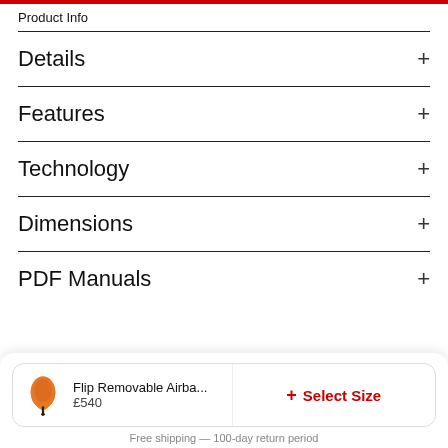Product Info
Details +
Features +
Technology +
Dimensions +
PDF Manuals +
Flip Removable Airba...
£540
+ Select Size
Free shipping — 100-day return period